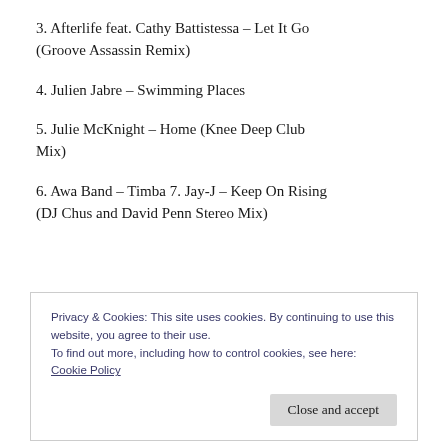3. Afterlife feat. Cathy Battistessa – Let It Go (Groove Assassin Remix)
4. Julien Jabre – Swimming Places
5. Julie McKnight – Home (Knee Deep Club Mix)
6. Awa Band – Timba 7. Jay-J – Keep On Rising (DJ Chus and David Penn Stereo Mix)
Privacy & Cookies: This site uses cookies. By continuing to use this website, you agree to their use.
To find out more, including how to control cookies, see here: Cookie Policy
8. Shakedown – At Night (Thaisoul Love Dub)